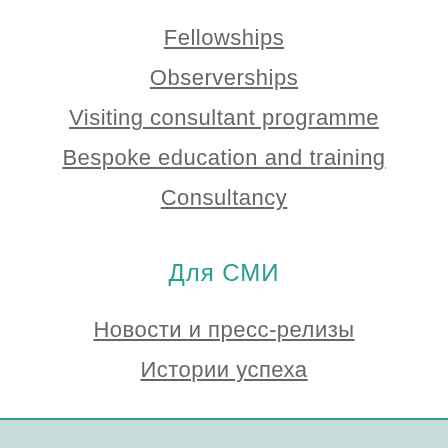Fellowships
Observerships
Visiting consultant programme
Bespoke education and training
Consultancy
Для СМИ
Новости и пресс-релизы
Истории успеха